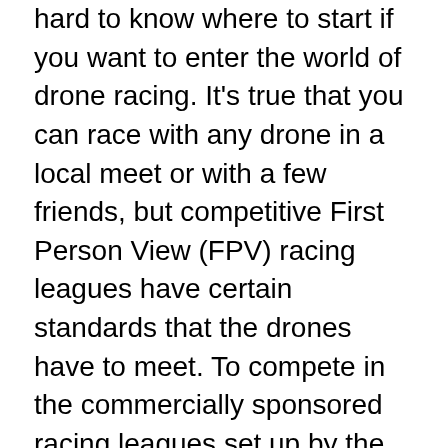hard to know where to start if you want to enter the world of drone racing. It's true that you can race with any drone in a local meet or with a few friends, but competitive First Person View (FPV) racing leagues have certain standards that the drones have to meet. To compete in the commercially sponsored racing leagues set up by the Drone Racing League (DRL), it requires an expertise of the sport but also more advanced and high-quality equipment. If you want to get up and running fast with equipment start here. Now, that we have the equipment lets get you up to speed.
Drone Racing is different than aerial photography drones. A racing drone is more about the special